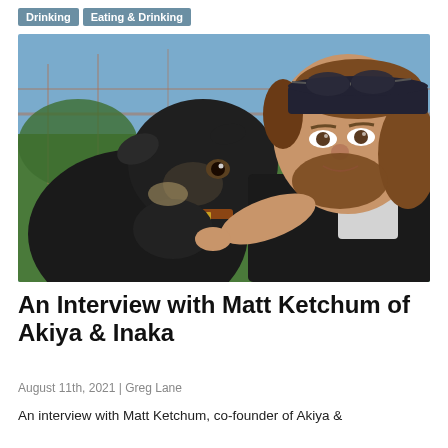Drinking | Eating & Drinking
[Figure (photo): A man with a beard wearing a black bandana and sunglasses on his head, posing close-up with a black goat wearing a collar, in an outdoor farm/pen setting with green foliage and fencing in the background.]
An Interview with Matt Ketchum of Akiya & Inaka
August 11th, 2021 | Greg Lane
An interview with Matt Ketchum, co-founder of Akiya &